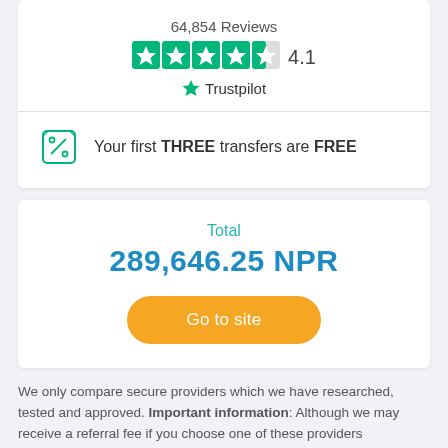64,854 Reviews
[Figure (other): Trustpilot star rating: 4 green filled stars and 1 partially filled star, rating 4.1, with Trustpilot logo]
Your first THREE transfers are FREE
Total
289,646.25 NPR
Go to site
We only compare secure providers which we have researched, tested and approved. Important information: Although we may receive a referral fee if you choose one of these providers